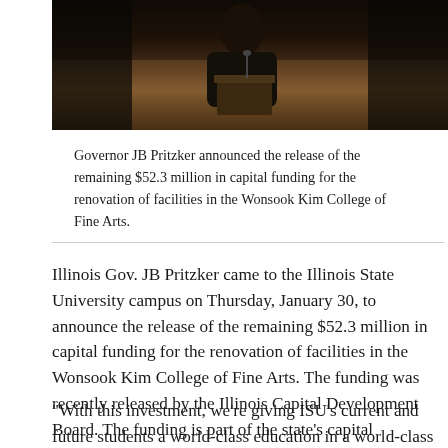[Figure (photo): A person at what appears to be a podium or lectern, photographed in a dark interior setting with wooden paneling in the background.]
Governor JB Pritzker announced the release of the remaining $52.3 million in capital funding for the renovation of facilities in the Wonsook Kim College of Fine Arts.
Illinois Gov. JB Pritzker came to the Illinois State University campus on Thursday, January 30, to announce the release of the remaining $52.3 million in capital funding for the renovation of facilities in the Wonsook Kim College of Fine Arts. The funding was recently released by the Illinois Capital Development Board. The funding is part of the state’s capital spending plan, approved last year by Gov. Pritzker.
“With this investment, we’re giving ISU’s current and future students a world-class education in a world-class facility—and we’re giving students the tools to